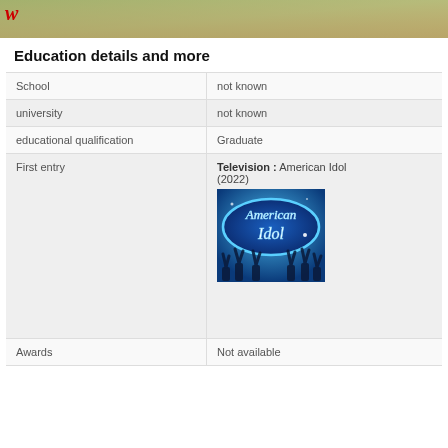[Figure (photo): Top portion of a person outdoors with greenery, with a red W logo in the top left corner]
Education details and more
|  |  |
| --- | --- |
| School | not known |
| university | not known |
| educational qualification | Graduate |
| First entry | Television : American Idol (2022) [American Idol logo image] |
| Awards | Not available |